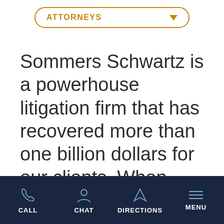[Figure (other): Dropdown button with orange border and text 'ATTORNEYS' with orange downward arrow]
Sommers Schwartz is a powerhouse litigation firm that has recovered more than one billion dollars for our clients. When your future is on the line, our team will
CALL  CHAT  DIRECTIONS  MENU